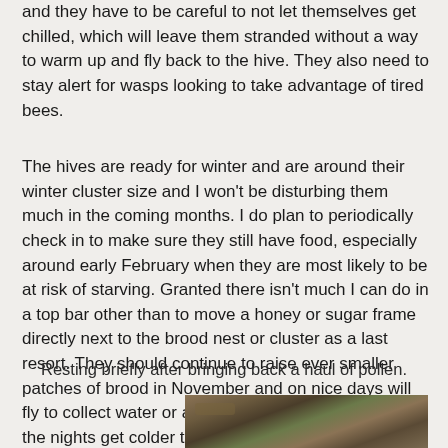and they have to be careful to not let themselves get chilled, which will leave them stranded without a way to warm up and fly back to the hive.  They also need to stay alert for wasps looking to take advantage of tired bees.
The hives are ready for winter and are around their winter cluster size and I won't be disturbing them much in the coming months.  I do plan to periodically check in to make sure they still have food, especially around early February when they are most likely to be at risk of starving.  Granted there isn't much I can do in a top bar other than to move a honey or sugar frame directly next to the brood nest or cluster as a last resort.  They should continue to raise ever smaller patches of brood in November and on nice days will fly to collect water or any pollen that's out there.  As the nights get colder they also seem to really bring in the propolis to seal up the hive against drafts and pests.
Resting briefly after bringing back a haul of pollen.
[Figure (photo): Close-up photo of a bee resting on what appears to be a wooden surface or branch, with pollen visible.]